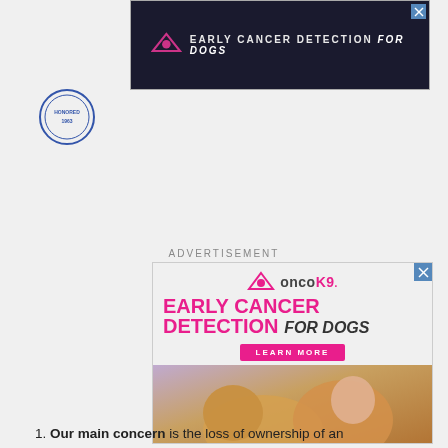[Figure (illustration): Top banner advertisement for OncoK9 Early Cancer Detection For Dogs with dark navy background, pink logo, and white bold text]
[Figure (logo): Small circular logo/seal in upper left area]
ADVERTISEMENT
[Figure (illustration): Main OncoK9 advertisement showing Early Cancer Detection For Dogs with pink branding, Learn More button, and photo of woman with golden retriever dog in lavender field]
1. Our main concern is the loss of ownership of an